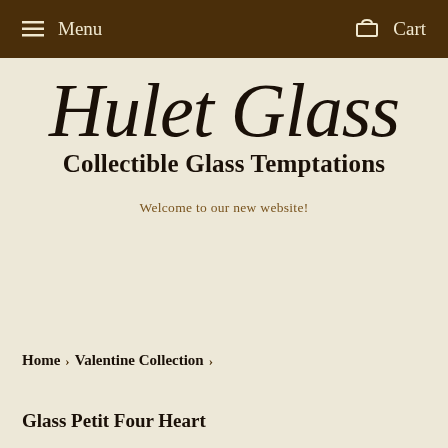Menu   Cart
Hulet Glass
Collectible Glass Temptations
Welcome to our new website!
Home › Valentine Collection ›
Glass Petit Four Heart